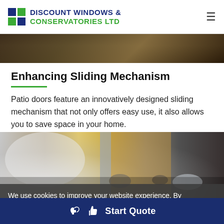[Figure (logo): Discount Windows & Conservatories Ltd logo with blue and green grid squares]
[Figure (photo): Close-up top strip of a dark wooden/metal surface]
Enhancing Sliding Mechanism
Patio doors feature an innovatively designed sliding mechanism that not only offers easy use, it also allows you to save space in your home.
[Figure (photo): Close-up photo of a sliding patio door mechanism showing chrome handles and wood-effect frame]
We use cookies to improve your website experience. By
Start Quote